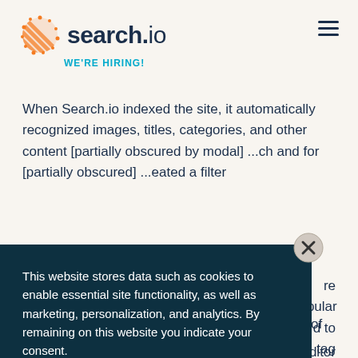[Figure (logo): search.io logo with orange dotted circular icon and dark blue text reading 'search.io']
WE'RE HIRING!
When Search.io indexed the site, it automatically recognized images, titles, categories, and other content [partially obscured] ...ch and for [partially obscured] ...eated a filter
This website stores data such as cookies to enable essential site functionality, as well as marketing, personalization, and analytics. By remaining on this website you indicate your consent.
Cookie Policy
...re popular ...d to tag
...he bulk editor ...that Search.io couldn't see the tags. They were in the <body> of the